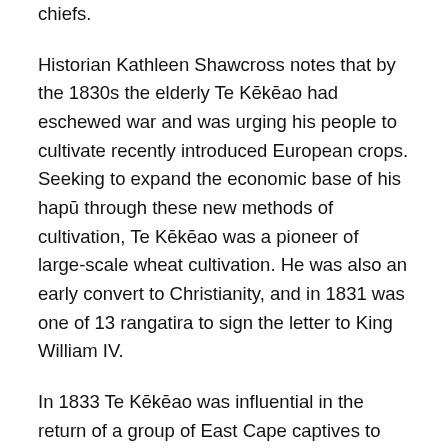chiefs.
Historian Kathleen Shawcross notes that by the 1830s the elderly Te Kēkēao had eschewed war and was urging his people to cultivate recently introduced European crops. Seeking to expand the economic base of his hapū through these new methods of cultivation, Te Kēkēao was a pioneer of large-scale wheat cultivation. He was also an early convert to Christianity, and in 1831 was one of 13 rangatira to sign the letter to King William IV.
In 1833 Te Kēkēao was influential in the return of a group of East Cape captives to their homes. Against their will, seven men and five women had been brought to the Bay of Islands aboard the whaling ship Elizabeth. Following negotiations between missionaries and Ngāpuhi rangatira (including fellow He Whakaputanga signatory Wharepoaka), the group were released on the proviso that the missionaries return them to the East Cape. After bad weather hampered their first attempt, the Ngāti Porou group finally reached home on the Fortitude